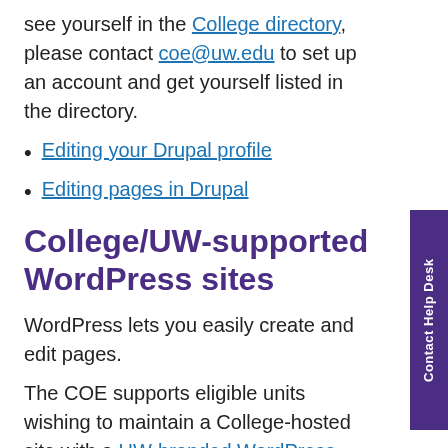see yourself in the College directory, please contact coe@uw.edu to set up an account and get yourself listed in the directory.
Editing your Drupal profile
Editing pages in Drupal
College/UW-supported WordPress sites
WordPress lets you easily create and edit pages.
The COE supports eligible units wishing to maintain a College-hosted site with a UW-branded WordPress theme.
All UWNetID accounts may also easily set up a